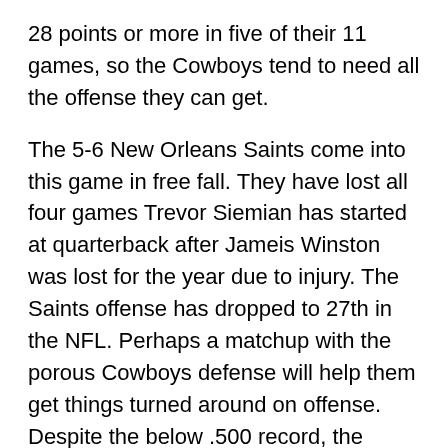28 points or more in five of their 11 games, so the Cowboys tend to need all the offense they can get.
The 5-6 New Orleans Saints come into this game in free fall. They have lost all four games Trevor Siemian has started at quarterback after Jameis Winston was lost for the year due to injury. The Saints offense has dropped to 27th in the NFL. Perhaps a matchup with the porous Cowboys defense will help them get things turned around on offense. Despite the below .500 record, the Saints remain squarely in the hunt for a wild card spot in the NFC, so this game has major playoff implications for them.
It's the Cowboys and the Saints in a matchup of two teams trying desperately to get their respective seasons back on track on Thursday Night Football.